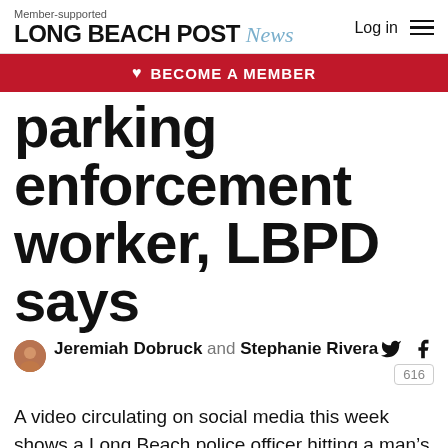Member-supported LONG BEACH POST News
parking enforcement worker, LBPD says
Jeremiah Dobruck and Stephanie Rivera
A video circulating on social media this week shows a Long Beach police officer hitting a man's legs with a baton. Police say the struggle is the end result of the man trying to carjack several vehicles and resisting